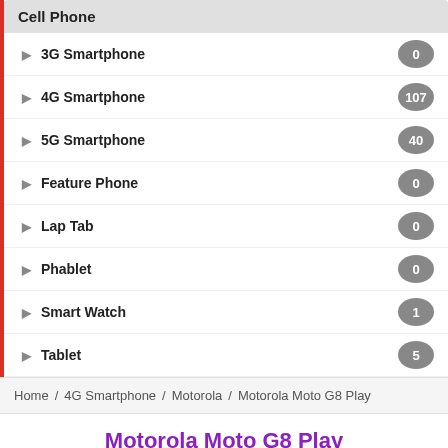Cell Phone
3G Smartphone — 0
4G Smartphone — 107
5G Smartphone — 40
Feature Phone — 0
Lap Tab — 0
Phablet — 0
Smart Watch — 1
Tablet — 5
Home / 4G Smartphone / Motorola / Motorola Moto G8 Play
Motorola Moto G8 Play
[Figure (photo): Photo of Motorola Moto G8 Play smartphone with dark frame and teal/green back, showing front screen with teardrop notch]